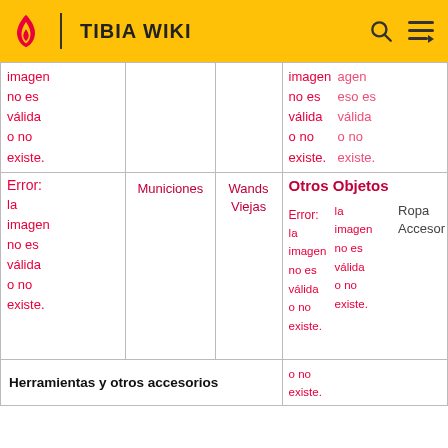TIBIA WIKI
| (image error) | (Municiones) | (Wands Viejas) | (image error overlapping Otros Objetos / Error / Ropa Accesor) |
| --- | --- | --- | --- |
| Error: la imagen no es válida o no existe. |  |  | Error: la imagen no es válida o no existe. |
| Error: la imagen no es válida o no existe. | Municiones | Wands Viejas | Otros Objetos / Error: la imagen no es válida o no existe. / Ropa Accesor |
| Herramientas y otros accesorios |  |  |  |